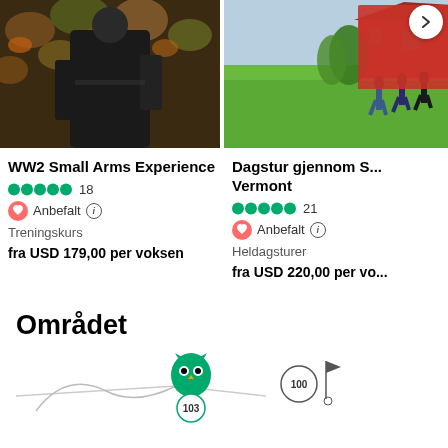[Figure (photo): Photo of a person in dark clothing in a forest with autumn leaves and foliage]
WW2 Small Arms Experience
●●●●● 18
❤ Anbefalt ⓘ
Treningskurs
fra USD 179,00 per voksen
[Figure (photo): Photo of people running in a green field next to a red barn building]
Dagstur gjennom S... Vermont
●●●●● 21
❤ Anbefalt ⓘ
Heldagsturer
fra USD 220,00 per vo...
Området
[Figure (map): Partial map with TripAdvisor pins showing numbers 103 and 100]